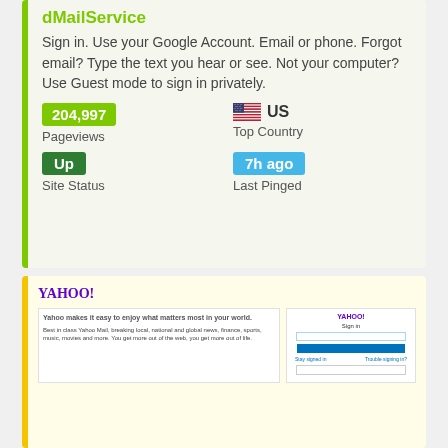dMailService
Sign in. Use your Google Account. Email or phone. Forgot email? Type the text you hear or see. Not your computer? Use Guest mode to sign in privately.
204,997 Pageviews
US Top Country
Up Site Status
7h ago Last Pinged
[Figure (screenshot): Yahoo website screenshot showing Yahoo logo, sign-in form with email/password fields and Next button]